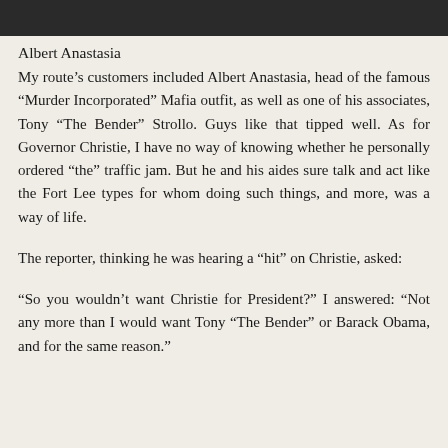[Figure (photo): Partial photograph visible at top of page, dark toned image cropped]
Albert Anastasia
My route’s customers included Albert Anastasia, head of the famous “Murder Incorporated” Mafia outfit, as well as one of his associates, Tony “The Bender” Strollo. Guys like that tipped well. As for Governor Christie, I have no way of knowing whether he personally ordered “the” traffic jam. But he and his aides sure talk and act like the Fort Lee types for whom doing such things, and more, was a way of life.
The reporter, thinking he was hearing a “hit” on Christie, asked:
“So you wouldn’t want Christie for President?” I answered: “Not any more than I would want Tony “The Bender” or Barack Obama, and for the same reason.”